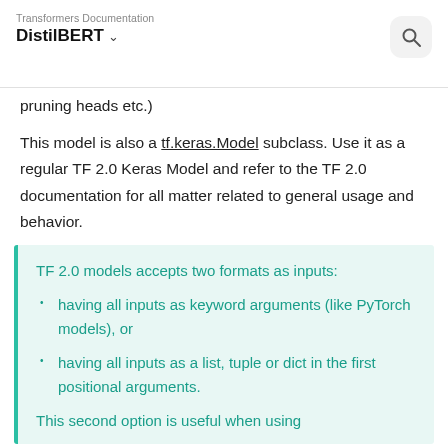Transformers Documentation
DistilBERT
pruning heads etc.)
This model is also a tf.keras.Model subclass. Use it as a regular TF 2.0 Keras Model and refer to the TF 2.0 documentation for all matter related to general usage and behavior.
TF 2.0 models accepts two formats as inputs:
having all inputs as keyword arguments (like PyTorch models), or
having all inputs as a list, tuple or dict in the first positional arguments.
This second option is useful when using